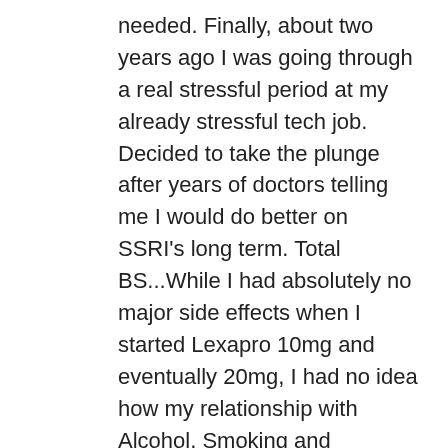needed. Finally, about two years ago I was going through a real stressful period at my already stressful tech job. Decided to take the plunge after years of doctors telling me I would do better on SSRI's long term. Total BS...While I had absolutely no major side effects when I started Lexapro 10mg and eventually 20mg, I had no idea how my relationship with Alcohol, Smoking and Gambling would change. I went from 0 to 100 in a matter of months. I became the binge drinker's binge drinker. Over a short period of time I noticed my need to stay up for 10 or more hours sitting at my PC watching youtube videos and downing beer after beer, when normally I would just have two or three and go to bed. I like others have mentioned would also not get drunk until way late in the game, maybe 15 beers. I smoke outside my house, so I would go out on the front walk to